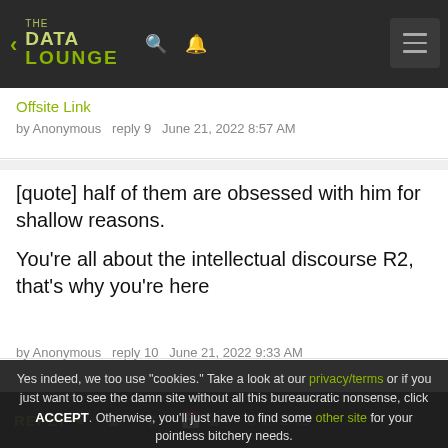THE DATA LOUNGE
Offsite Link
by Anonymous   reply 9   June 21, 2022 8:57 AM
[quote] half of them are obsessed with him for shallow reasons.

You're all about the intellectual discourse R2, that's why you're here
by Anonymous   reply 10   June 21, 2022 9:33 AM
Yes indeed, we too use "cookies." Take a look at our privacy/terms or if you just want to see the damn site without all this bureaucratic nonsense, click ACCEPT. Otherwise, you'll just have to find some other site for your pointless bitchery needs.
Betting he and Bash set off to London or wherever else today. He seems fully done with the IOM
REPLY  ▲  ▼  UNREAD